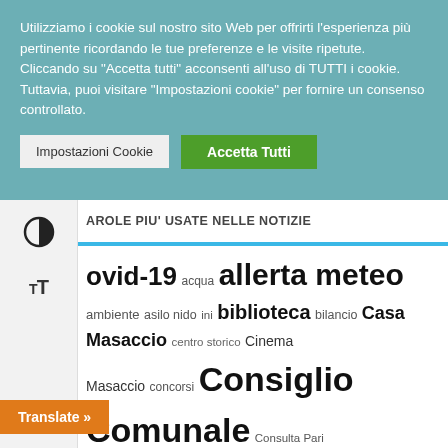Utilizziamo i cookie sul nostro sito Web per offrirti l'esperienza più pertinente ricordando le tue preferenze e le visite ripetute. Cliccando su "Accetta tutti" acconsenti all'uso di TUTTI i cookie. Tuttavia, puoi visitare "Impostazioni cookie" per fornire un consenso controllato.
Impostazioni Cookie | Accetta Tutti
AROLE PIU' USATE NELLE NOTIZIE
[Figure (infographic): Tag cloud of news keywords in Italian including: covid-19, acqua, allerta meteo, ambiente, asilo nido, bambini, biblioteca, bilancio, Casa Masaccio, centro storico, Cinema Masaccio, concorsi, Consiglio Comunale, Consulta Pari Opportunità, contributi, coronavirus, covid, elezioni, lavori stradali, Le piazze del Sapere, libri, manutenzione, mensa scolastica, Museo delle Terre Nuove, musica, orari, pacchetto scuola, parcheggi, Publiocque, Punto Amico, raccolta differenziata, Toscana, rifiuti, SAR]
Translate »